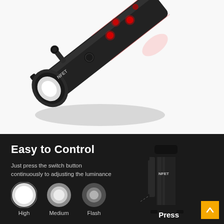[Figure (photo): A black bicycle flashlight (NFET branded) shown at an angle with red LED lights glowing along the body and a bright white light at the front lens, mounted with a handlebar bracket.]
[Figure (infographic): Dark panel titled 'Easy to Control' showing a flashlight with three brightness modes: High (bright glow), Medium (medium glow), Flash (faint glow). Text says 'Just press the switch button continuously to adjusting the luminance'. A 'Press' label and an NFET flashlight image are on the right. A yellow scroll-to-top button is in the bottom right corner.]